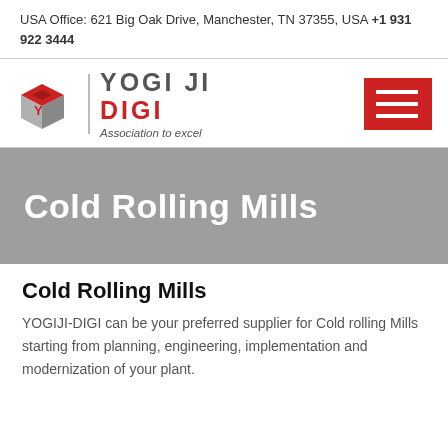USA Office: 621 Big Oak Drive, Manchester, TN 37355, USA +1 931 922 3444
[Figure (logo): Yogiji Digi logo with stylized cube icon, text YOGIJI DIGI and tagline Association to excel]
Cold Rolling Mills
Cold Rolling Mills
YOGIJI-DIGI can be your preferred supplier for Cold rolling Mills starting from planning, engineering, implementation and modernization of your plant.